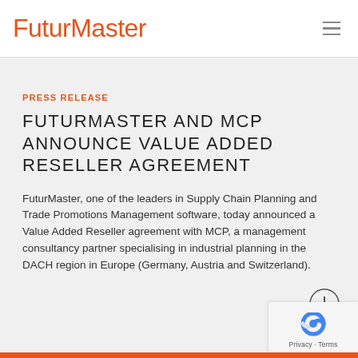FuturMaster
PRESS RELEASE
FUTURMASTER AND MCP ANNOUNCE VALUE ADDED RESELLER AGREEMENT
FuturMaster, one of the leaders in Supply Chain Planning and Trade Promotions Management software, today announced a Value Added Reseller agreement with MCP, a management consultancy partner specialising in industrial planning in the DACH region in Europe (Germany, Austria and Switzerland).